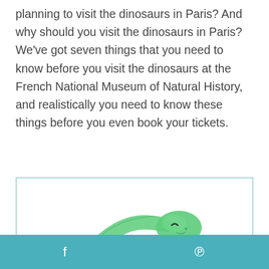planning to visit the dinosaurs in Paris? And why should you visit the dinosaurs in Paris? We've got seven things that you need to know before you visit the dinosaurs at the French National Museum of Natural History, and realistically you need to know these things before you even book your tickets.
[Figure (illustration): Cute cartoon illustration of a green dinosaur (long-necked, with closed eyes and a smile) next to a pink heart, drawn in a watercolor style, inside a light teal-bordered box.]
f    p